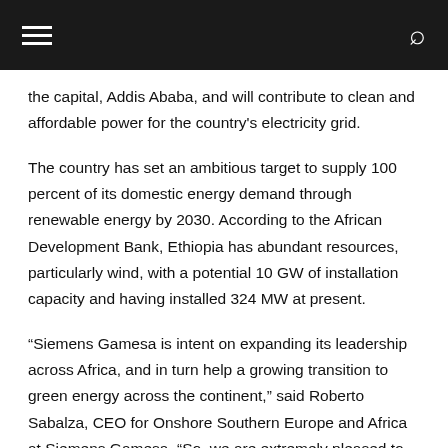[hamburger menu] [search icon]
the capital, Addis Ababa, and will contribute to clean and affordable power for the country's electricity grid.
The country has set an ambitious target to supply 100 percent of its domestic energy demand through renewable energy by 2030. According to the African Development Bank, Ethiopia has abundant resources, particularly wind, with a potential 10 GW of installation capacity and having installed 324 MW at present.
“Siemens Gamesa is intent on expanding its leadership across Africa, and in turn help a growing transition to green energy across the continent,” said Roberto Sabalza, CEO for Onshore Southern Europe and Africa at Siemens Gamesa. “So, we are extremely pleased to begin work in Ethiopia and look forward to collaborating with both EEP and the country